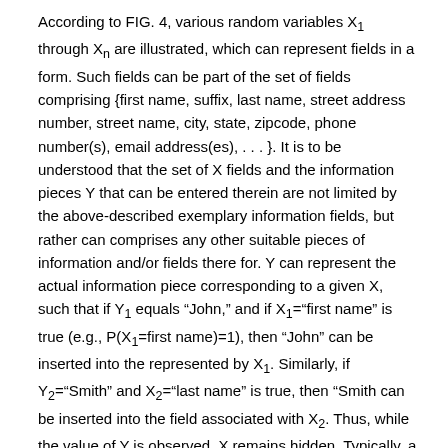According to FIG. 4, various random variables X₁ through Xₙ are illustrated, which can represent fields in a form. Such fields can be part of the set of fields comprising {first name, suffix, last name, street address number, street name, city, state, zipcode, phone number(s), email address(es), . . . }. It is to be understood that the set of X fields and the information pieces Y that can be entered therein are not limited by the above-described exemplary information fields, but rather can comprises any other suitable pieces of information and/or fields there for. Y can represent the actual information piece corresponding to a given X, such that if Y₁ equals "John," and if X₁="first name" is true (e.g., P(X₁=first name)=1), then "John" can be inserted into the represented by X₁. Similarly, if Y₂="Smith" and X₂="last name" is true, then "Smith can be inserted into the field associated with X₂. Thus, while the value of Y is observed, X remains hidden. Typically, a probability distribution will be observed (e.g., P(X₁=first name)=0.23, P(X₁=last name)=0.03, P(X₁=city name)=0.093, etc.), such that a label exhibiting the highest